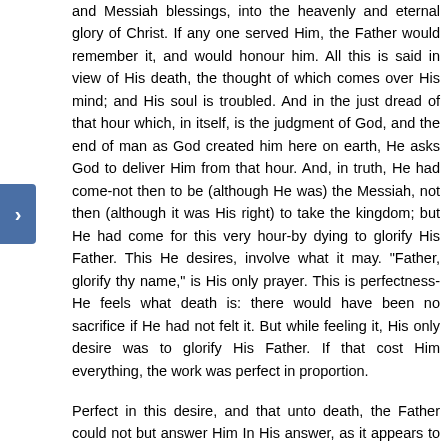and Messiah blessings, into the heavenly and eternal glory of Christ. If any one served Him, the Father would remember it, and would honour him. All this is said in view of His death, the thought of which comes over His mind; and His soul is troubled. And in the just dread of that hour which, in itself, is the judgment of God, and the end of man as God created him here on earth, He asks God to deliver Him from that hour. And, in truth, He had come-not then to be (although He was) the Messiah, not then (although it was His right) to take the kingdom; but He had come for this very hour-by dying to glorify His Father. This He desires, involve what it may. "Father, glorify thy name," is His only prayer. This is perfectness-He feels what death is: there would have been no sacrifice if He had not felt it. But while feeling it, His only desire was to glorify His Father. If that cost Him everything, the work was perfect in proportion.
Perfect in this desire, and that unto death, the Father could not but answer Him In His answer, as it appears to me, the Father announces the resurrection. But what grace, what marvel, to be admitted into such communications! The heart is astounded, while filled